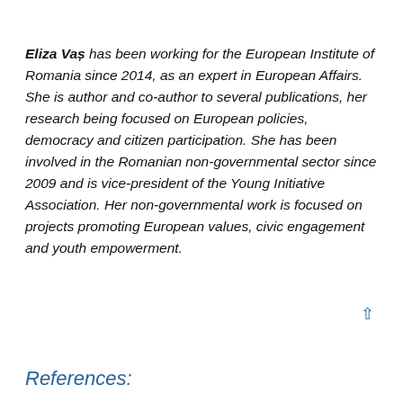Eliza Vaș has been working for the European Institute of Romania since 2014, as an expert in European Affairs. She is author and co-author to several publications, her research being focused on European policies, democracy and citizen participation. She has been involved in the Romanian non-governmental sector since 2009 and is vice-president of the Young Initiative Association. Her non-governmental work is focused on projects promoting European values, civic engagement and youth empowerment.
References: